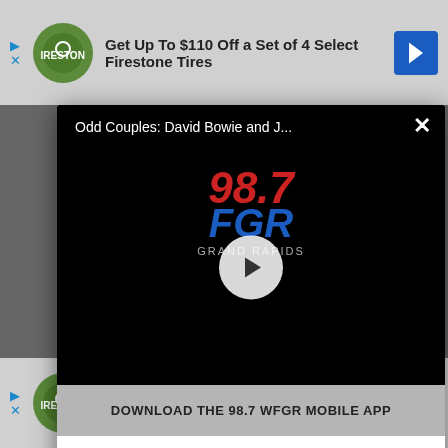[Figure (screenshot): Top advertisement banner: Firestone Tires ad with green auto logo, text 'Get Up To $110 Off a Set of 4 Select Firestone Tires', blue direction sign icon]
[Figure (screenshot): Modal popup showing 98.7 FGR Grand Rapids radio station video player with title 'Odd Couples: David Bowie and J...' and play button overlay]
Odd Couples: David Bowie and J...
DOWNLOAD THE 98.7 WFGR MOBILE APP
GET OUR FREE MOBILE APP
Also listen on:  amazon alexa
[Figure (screenshot): Bottom advertisement banner: Firestone Tires ad with green auto logo, text 'Get Up To $110 Off a Set of 4 Select Firestone Tires', blue direction sign icon]